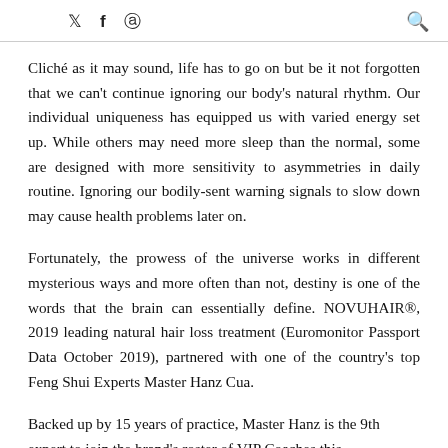Twitter  Facebook  Instagram  Search
Cliché as it may sound, life has to go on but be it not forgotten that we can't continue ignoring our body's natural rhythm. Our individual uniqueness has equipped us with varied energy set up. While others may need more sleep than the normal, some are designed with more sensitivity to asymmetries in daily routine. Ignoring our bodily-sent warning signals to slow down may cause health problems later on.
Fortunately, the prowess of the universe works in different mysterious ways and more often than not, destiny is one of the words that the brain can essentially define. NOVUHAIR®, 2019 leading natural hair loss treatment (Euromonitor Passport Data October 2019), partnered with one of the country's top Feng Shui Experts Master Hanz Cua.
Backed up by 15 years of practice, Master Hanz is the 9th expert to join the brand's roster of VIP Coaches this...